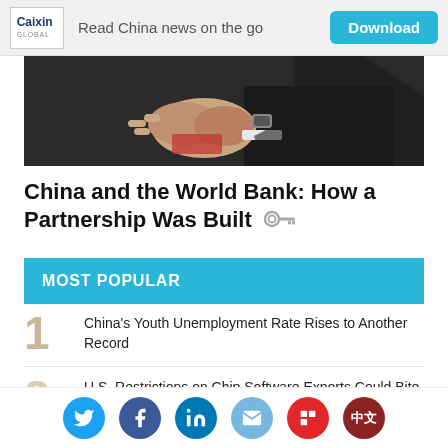Caixin Global — Read China news on the go — Download
[Figure (photo): Close-up photo of two people shaking hands or clasping hands, wearing dark suits, one wearing a watch. Dark background.]
China and the World Bank: How a Partnership Was Built
MOST POPULAR
1. China's Youth Unemployment Rate Rises to Another Record
2. U.S. Restrictions on Chip Software Exports Could Bite in the Long Term, Analysts Say
Social share icons: Twitter, Facebook, LinkedIn, Email, Flipboard, 中文